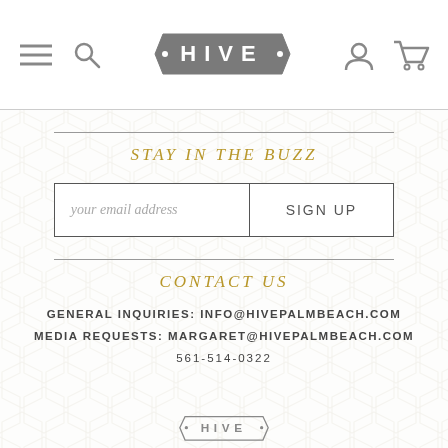[Figure (screenshot): Navigation bar with hamburger menu icon, search icon, HIVE logo badge, user account icon, and shopping cart icon]
STAY IN THE BUZZ
your email address | SIGN UP
CONTACT US
GENERAL INQUIRIES: INFO@HIVEPALMBEACH.COM
MEDIA REQUESTS: MARGARET@HIVEPALMBEACH.COM
561-514-0322
[Figure (logo): HIVE logo partial at bottom]